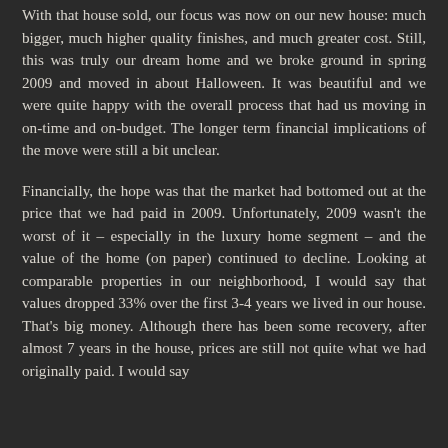With that house sold, our focus was now on our new house: much bigger, much higher quality finishes, and much greater cost. Still, this was truly our dream home and we broke ground in spring 2009 and moved in about Halloween. It was beautiful and we were quite happy with the overall process that had us moving in on-time and on-budget. The longer term financial implications of the move were still a bit unclear.
Financially, the hope was that the market had bottomed out at the price that we had paid in 2009. Unfortunately, 2009 wasn't the worst of it – especially in the luxury home segment – and the value of the home (on paper) continued to decline. Looking at comparable properties in our neighborhood, I would say that values dropped 33% over the first 3-4 years we lived in our house. That's big money. Although there has been some recovery, after almost 7 years in the house, prices are still not quite what we had originally paid. I would say